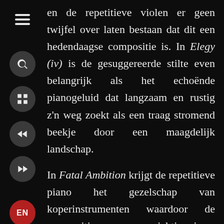en de repetitieve violen er geen twijfel over laten bestaan dat dit een hedendaagse compositie is. In Elegy (iv) is de gesuggereerde stilte even belangrijk als het echoënde pianogeluid dat langzaam en rustig z'n weg zoekt als een traag stromend beekje door een maagdelijk landschap.

In Fatal Ambition krijgt de repetitieve piano het gezelschap van koperinstrumenten waardoor de compositie een voorzichtig jazz-gevoel krijgt. Het is de minst klassiek aandoende track tot nog toe. A Sadder